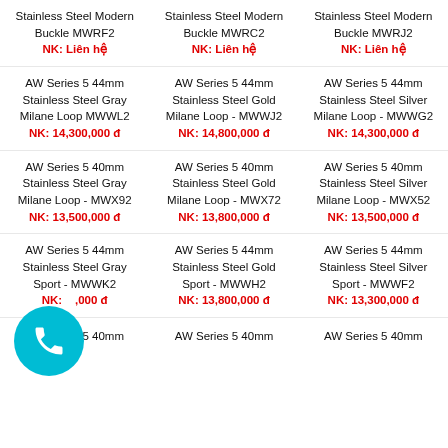Stainless Steel Modern Buckle MWRF2
NK: Liên hệ
Stainless Steel Modern Buckle MWRC2
NK: Liên hệ
Stainless Steel Modern Buckle MWRJ2
NK: Liên hệ
AW Series 5 44mm Stainless Steel Gray Milane Loop MWWL2
NK: 14,300,000 đ
AW Series 5 44mm Stainless Steel Gold Milane Loop - MWWJ2
NK: 14,800,000 đ
AW Series 5 44mm Stainless Steel Silver Milane Loop - MWWG2
NK: 14,300,000 đ
AW Series 5 40mm Stainless Steel Gray Milane Loop - MWX92
NK: 13,500,000 đ
AW Series 5 40mm Stainless Steel Gold Milane Loop - MWX72
NK: 13,800,000 đ
AW Series 5 40mm Stainless Steel Silver Milane Loop - MWX52
NK: 13,500,000 đ
AW Series 5 44mm Stainless Steel Gray Sport - MWWK2
NK: [price],000 đ
AW Series 5 44mm Stainless Steel Gold Sport - MWWH2
NK: 13,800,000 đ
AW Series 5 44mm Stainless Steel Silver Sport - MWWF2
NK: 13,300,000 đ
AW Series 5 40mm
AW Series 5 40mm
AW Series 5 40mm